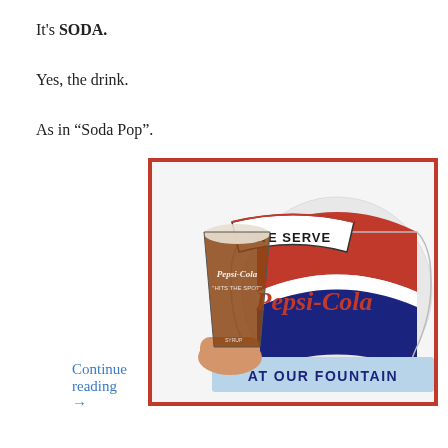It's SODA.
Yes, the drink.
As in “Soda Pop”.
[Figure (photo): Vintage Pepsi-Cola advertisement sign showing a hand holding a glass of Pepsi with text 'We Serve Pepsi-Cola At Our Fountain' and the old Pepsi-Cola logo]
Continue reading →